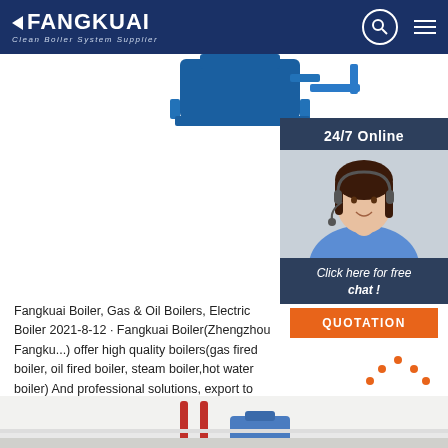FANGKUAI Clean Boiler System Supplier
[Figure (screenshot): Blue industrial boiler product image at top of page]
[Figure (photo): 24/7 Online chat widget with customer service representative photo, 'Click here for free chat!' CTA and QUOTATION button]
Fangkuai Boiler, Gas & Oil Boilers, Electric Boiler 2021-8-12 · Fangkuai Boiler(Zhengzhou Fangkuai) offer high quality boilers(gas fired boiler, oil fired boiler, steam boiler,hot water boiler) And professional solutions, export to more than 100 countries.
[Figure (illustration): Orange TOP icon with dots forming triangle above the word TOP]
[Figure (photo): Bottom strip showing boiler/heating equipment photo]